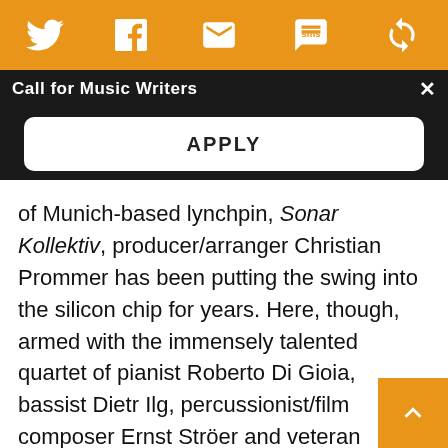[Figure (screenshot): Orange top bar with social media icons: Twitter, Facebook, Email, SMS, and a feed/circle icon, all white on orange background.]
Call for Music Writers
APPLY
of Munich-based lynchpin, Sonar Kollektiv, producer/arranger Christian Prommer has been putting the swing into the silicon chip for years. Here, though, armed with the immensely talented quartet of pianist Roberto Di Gioia, bassist Dietr Ilg, percussionist/film composer Ernst Ströer and veteran drummer Wolfgang Haffner, he unplugs wholeheartedly for what, on paper, initially appears as outlandish as it does inspired: acoustic jazz treatments of house and techno touchst from Kraftwerk to Mr Fingers, Josh Wink via Louie